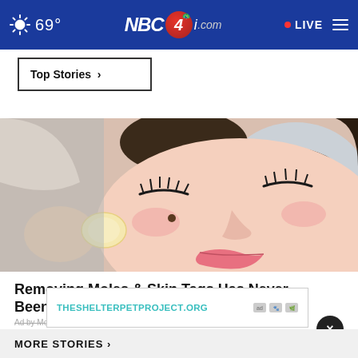69° NBC4i.com • LIVE
Top Stories ›
[Figure (illustration): Illustration of a woman with eyes closed having a mole removal treatment applied to her cheek with a cotton pad]
Removing Moles & Skin Tags Has Never Been This Easy
Ad by Mole & Skin Tag Removal
[Figure (other): Ad banner: THESHELTERPETPROJECT.ORG with ad choice icons]
MORE STORIES ›